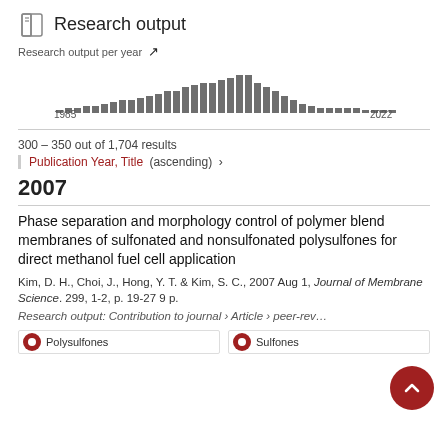Research output
[Figure (bar-chart): Research output per year]
300 – 350 out of 1,704 results
Publication Year, Title (ascending) ›
2007
Phase separation and morphology control of polymer blend membranes of sulfonated and nonsulfonated polysulfones for direct methanol fuel cell application
Kim, D. H., Choi, J., Hong, Y. T. & Kim, S. C., 2007 Aug 1, Journal of Membrane Science. 299, 1-2, p. 19-27 9 p.
Research output: Contribution to journal › Article › peer-reviewed
Polysulfones
Sulfones